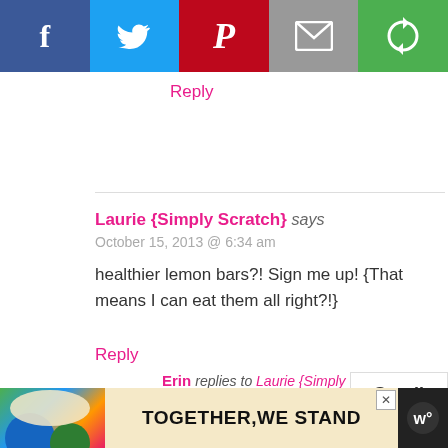[Figure (other): Social share bar with Facebook, Twitter, Pinterest, Email, and another sharing icon buttons]
Reply
Laurie {Simply Scratch} says
October 15, 2013 @ 6:34 am

healthier lemon bars?! Sign me up! {That means I can eat them all right?!}
Reply
Erin replies to Laurie {Simply Scratch}
October 15, 2013 @ 9:40 pm

Of course it does! :)
Scroll
to
top
[Figure (infographic): Advertisement banner: TOGETHER,WE STAND with colorful illustration]